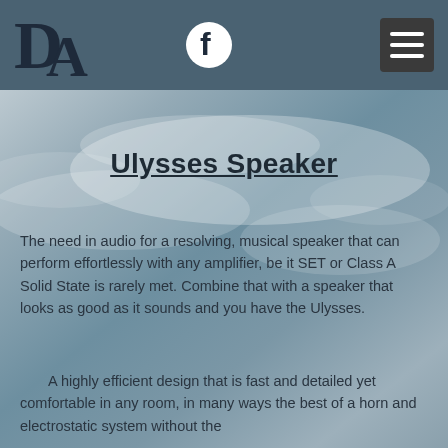[Figure (logo): DA logo in dark serif font, top left of navigation bar]
[Figure (logo): Facebook circular icon in white and dark]
[Figure (other): Hamburger menu icon, three horizontal white lines on dark gray square]
[Figure (photo): Background photo of cloudy sky in muted blue-gray tones]
Ulysses Speaker
The need in audio for a resolving, musical speaker that can perform effortlessly with any amplifier, be it SET or Class A Solid State is rarely met. Combine that with a speaker that looks as good as it sounds and you have the Ulysses.
A highly efficient design that is fast and detailed yet comfortable in any room, in many ways the best of a horn and electrostatic system without the